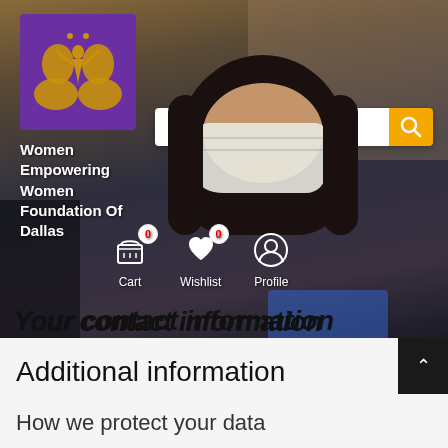[Figure (screenshot): Website header screenshot showing a purple logo with gold butterfly/woman icon for Women Empowering Women Foundation Of Dallas, a search bar with orange search button, a background photo of people including a woman wearing a face mask, and icons for Cart (0), Wishlist (0), and Profile.]
Your contact information
Additional information
How we protect your data